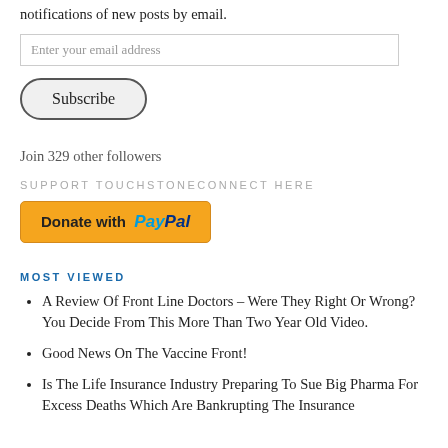notifications of new posts by email.
Enter your email address
[Figure (other): Subscribe button — rounded rectangle button with label 'Subscribe']
Join 329 other followers
SUPPORT TOUCHSTONECONNECT HERE
[Figure (other): Donate with PayPal button — orange button with PayPal logo text]
MOST VIEWED
A Review Of Front Line Doctors – Were They Right Or Wrong? You Decide From This More Than Two Year Old Video.
Good News On The Vaccine Front!
Is The Life Insurance Industry Preparing To Sue Big Pharma For Excess Deaths Which Are Bankrupting The Insurance Companies?